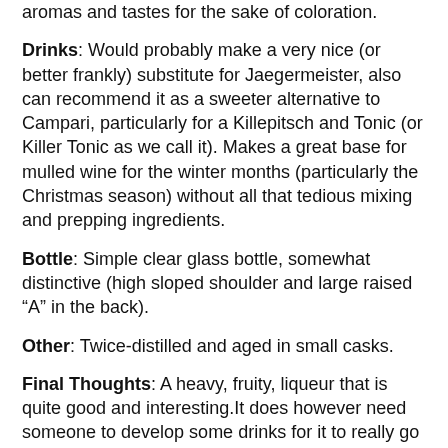aromas and tastes for the sake of coloration.
Drinks: Would probably make a very nice (or better frankly) substitute for Jaegermeister, also can recommend it as a sweeter alternative to Campari, particularly for a Killepitsch and Tonic (or Killer Tonic as we call it). Makes a great base for mulled wine for the winter months (particularly the Christmas season) without all that tedious mixing and prepping ingredients.
Bottle: Simple clear glass bottle, somewhat distinctive (high sloped shoulder and large raised “A” in the back).
Other: Twice-distilled and aged in small casks.
Final Thoughts: A heavy, fruity, liqueur that is quite good and interesting.It does however need someone to develop some drinks for it to really go anywhere.
Website: Two of them actually. The American importer’s website is : http://www.ourniche.com/spirits.asp
and the original German distiller’s website:
http://www.killepitsch.com